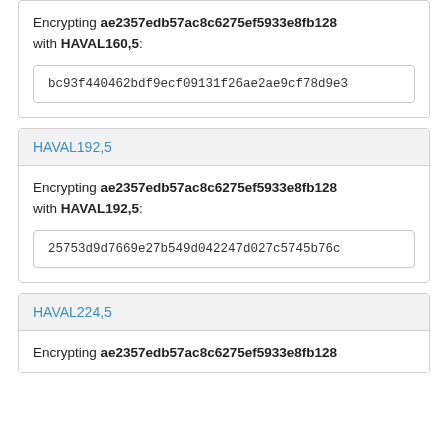Encrypting ae2357edb57ac8c6275ef5933e8fb128 with HAVAL160,5:
bc93f440462bdf9ecf09131f26ae2ae9cf78d9e3
HAVAL192,5
Encrypting ae2357edb57ac8c6275ef5933e8fb128 with HAVAL192,5:
25753d9d7669e27b549d042247d027c5745b76c
HAVAL224,5
Encrypting ae2357edb57ac8c6275ef5933e8fb128